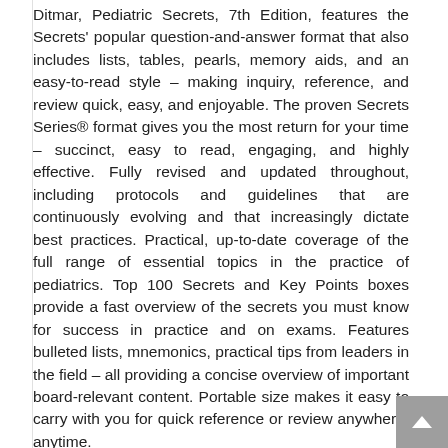Ditmar, Pediatric Secrets, 7th Edition, features the Secrets' popular question-and-answer format that also includes lists, tables, pearls, memory aids, and an easy-to-read style – making inquiry, reference, and review quick, easy, and enjoyable. The proven Secrets Series® format gives you the most return for your time – succinct, easy to read, engaging, and highly effective. Fully revised and updated throughout, including protocols and guidelines that are continuously evolving and that increasingly dictate best practices. Practical, up-to-date coverage of the full range of essential topics in the practice of pediatrics. Top 100 Secrets and Key Points boxes provide a fast overview of the secrets you must know for success in practice and on exams. Features bulleted lists, mnemonics, practical tips from leaders in the field – all providing a concise overview of important board-relevant content. Portable size makes it easy to carry with you for quick reference or review anywhere, anytime.